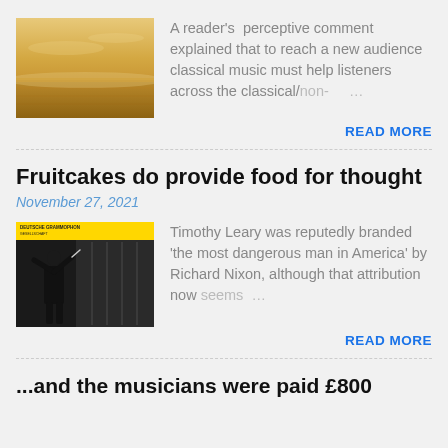[Figure (photo): Warm golden sky over calm water, landscape orientation thumbnail]
A reader's perceptive comment explained that to reach a new audience classical music must help listeners across the classical/non- …
READ MORE
Fruitcakes do provide food for thought
November 27, 2021
[Figure (photo): Album cover showing a conductor in dark clothing against architectural background, with yellow Deutsche Grammophon label at top]
Timothy Leary was reputedly branded 'the most dangerous man in America' by Richard Nixon, although that attribution now seems …
READ MORE
...and the musicians were paid £800